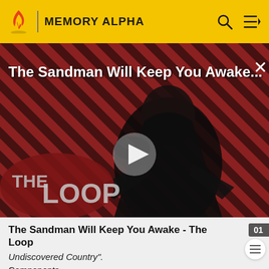MEMORY ALPHA
[Figure (screenshot): Video thumbnail showing a dark-cloaked figure against a red and black diagonal striped background, with THE LOOP logo overlay and a play button. Title reads 'The Sandman Will Keep You Awake...']
The Sandman Will Keep You Awake - The Loop
Undiscovered Country".
Components
projection matrix